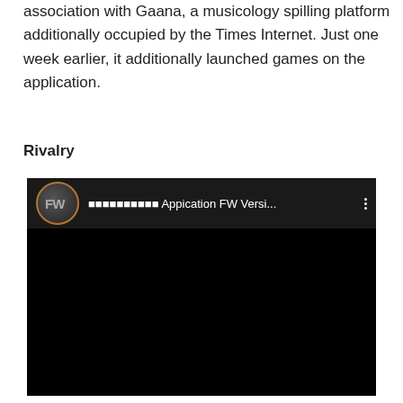association with Gaana, a musicology spilling platform additionally occupied by the Times Internet. Just one week earlier, it additionally launched games on the application.
Rivalry
[Figure (screenshot): Screenshot of a video player interface with a dark/black background. The video header shows a circular FW logo with copper/bronze border, followed by non-latin script text and 'Appication FW Versi...' as the video title, with a three-dot menu on the right.]